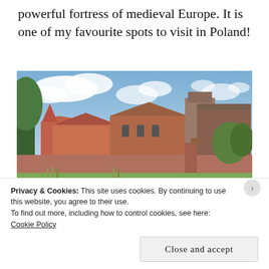powerful fortress of medieval Europe. It is one of my favourite spots to visit in Poland!
[Figure (photo): Photograph of Malbork Castle in Poland, a large red-brick medieval fortress viewed across a river, with trees in the foreground and a partly cloudy sky.]
Privacy & Cookies: This site uses cookies. By continuing to use this website, you agree to their use.
To find out more, including how to control cookies, see here:
Cookie Policy
Close and accept